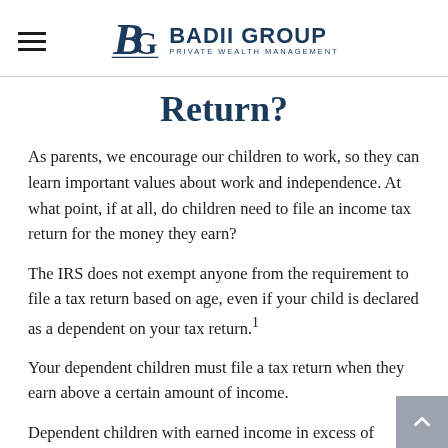BADII GROUP PRIVATE WEALTH MANAGEMENT
Return?
As parents, we encourage our children to work, so they can learn important values about work and independence. At what point, if at all, do children need to file an income tax return for the money they earn?
The IRS does not exempt anyone from the requirement to file a tax return based on age, even if your child is declared as a dependent on your tax return.¹
Your dependent children must file a tax return when they earn above a certain amount of income.
Dependent children with earned income in excess of $12,550 must file an income tax return. Dependent